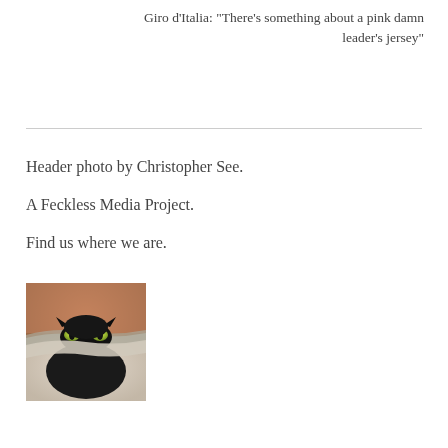Giro d'Italia: “There’s something about a pink damn leader’s jersey”
Header photo by Christopher See.
A Feckless Media Project.
Find us where we are.
[Figure (photo): A black cat peeking out from under a piece of paper or fabric, with bright yellow-green eyes visible]